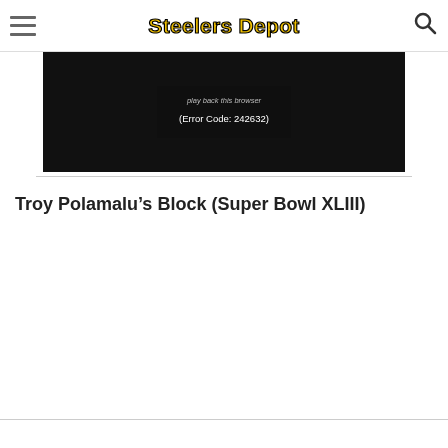Steelers Depot
[Figure (screenshot): Video player error screen showing black background with error message text: 'play back this browser (Error Code: 242632)']
Troy Polamalu's Block (Super Bowl XLIII)